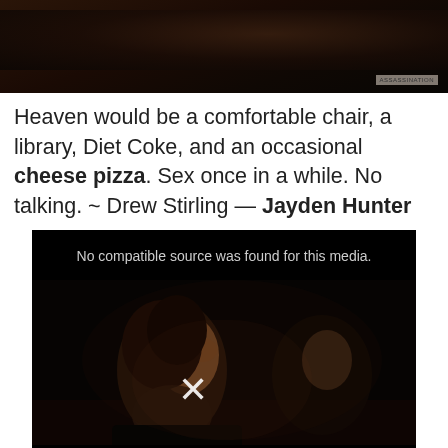[Figure (photo): Dark cinematic still image, mostly black/dark brown tones, top portion of page]
Heaven would be a comfortable chair, a library, Diet Coke, and an occasional cheese pizza. Sex once in a while. No talking. ~ Drew Stirling — Jayden Hunter
[Figure (screenshot): Video player showing cinema scene with two people, overlaid with 'No compatible source was found for this media.' error text and an X mark]